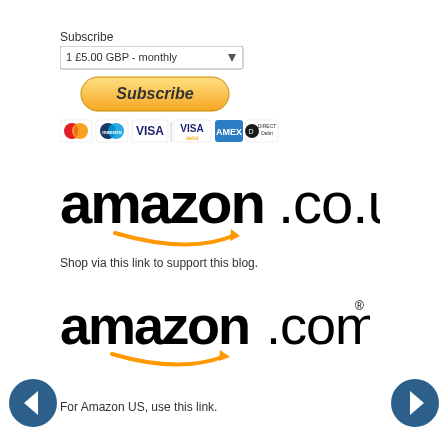Subscribe
[Figure (screenshot): Subscribe dropdown showing '1 £5.00 GBP - monthly' option with dropdown arrow]
[Figure (screenshot): Yellow Subscribe button with italic bold text]
[Figure (screenshot): Payment icons: Mastercard, Maestro, VISA, VISA Debit, American Express, Direct Debit]
[Figure (logo): amazon.co.uk logo with orange smile/arrow underneath]
Shop via this link to support this blog.
[Figure (logo): amazon.com logo with orange smile/arrow underneath and registered trademark symbol]
For Amazon US, use this link.
[Figure (screenshot): Left navigation arrow button (dark blue circle with white left arrow)]
[Figure (screenshot): Right navigation arrow button (dark blue circle with white right arrow)]